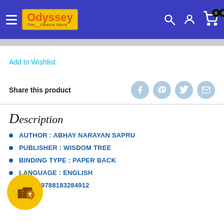Odyssey — The Leisure Store
Add to Wishlist
Share this product
Description
AUTHOR : ABHAY NARAYAN SAPRU
PUBLISHER : WISDOM TREE
BINDING TYPE : PAPER BACK
LANGUAGE : ENGLISH
ISBN : 9788183284912